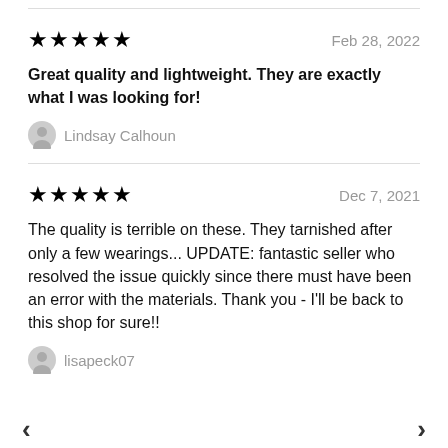★★★★★   Feb 28, 2022
Great quality and lightweight. They are exactly what I was looking for!
Lindsay Calhoun
★★★★★   Dec 7, 2021
The quality is terrible on these. They tarnished after only a few wearings... UPDATE: fantastic seller who resolved the issue quickly since there must have been an error with the materials. Thank you - I'll be back to this shop for sure!!
lisapeck07